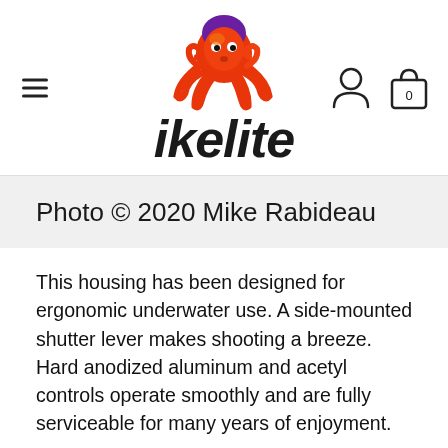ikelite [logo with octopus icon]
Photo © 2020 Mike Rabideau
This housing has been designed for ergonomic underwater use. A side-mounted shutter lever makes shooting a breeze. Hard anodized aluminum and acetyl controls operate smoothly and are fully serviceable for many years of enjoyment.
Two 1/4-20 mounts on the bottom of the housing allow the rotation-free attachment of